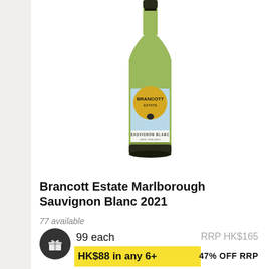[Figure (photo): Wine bottle - Brancott Estate Marlborough Sauvignon Blanc 2021 with gold circle label on light blue background]
92
Brancott Estate Marlborough Sauvignon Blanc 2021
77 available
99 each
RRP HK$165
HK$88 in any 6+
47% OFF RRP